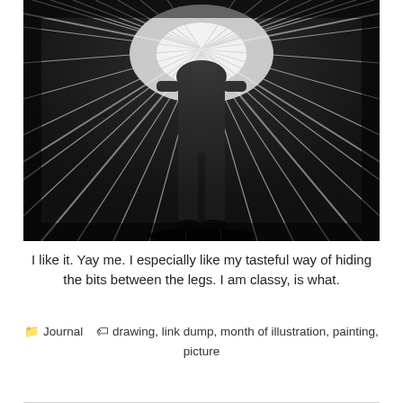[Figure (illustration): Black and white dramatic illustration of a dark silhouetted figure standing with rays of light/scratchy strokes radiating outward from behind, creating a stark high-contrast effect. The figure is shown from the waist/torso area down, with dark shadowy lower body and scratched white streaks emanating outward.]
I like it. Yay me. I especially like my tasteful way of hiding the bits between the legs. I am classy, is what.
Journal   drawing, link dump, month of illustration, painting, picture